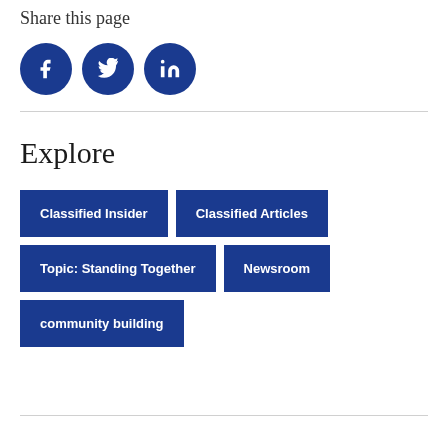Share this page
[Figure (infographic): Three blue circular social media icons for Facebook (f), Twitter (bird), and LinkedIn (in)]
Explore
Classified Insider
Classified Articles
Topic: Standing Together
Newsroom
community building